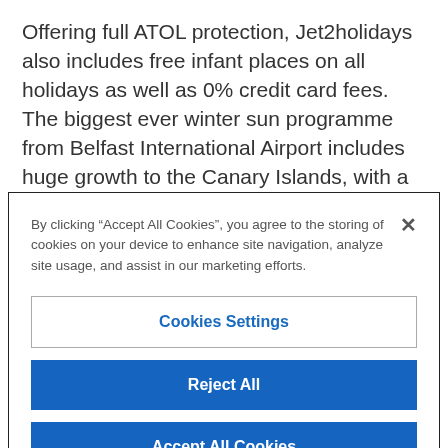Offering full ATOL protection, Jet2holidays also includes free infant places on all holidays as well as 0% credit card fees. The biggest ever winter sun programme from Belfast International Airport includes huge growth to the Canary Islands, with a choice of up to eight weekly flights meaning there are over 25,000 seats available to Lanzarote, Gran
By clicking “Accept All Cookies”, you agree to the storing of cookies on your device to enhance site navigation, analyze site usage, and assist in our marketing efforts.
Cookies Settings
Reject All
Accept All Cookies